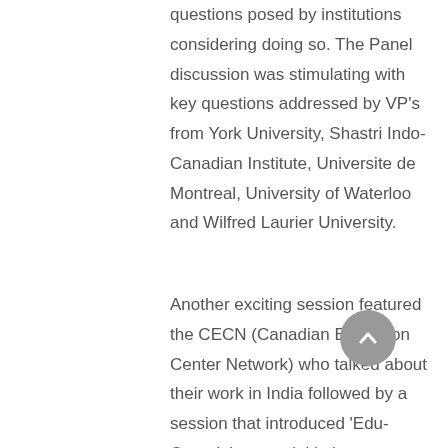questions posed by institutions considering doing so. The Panel discussion was stimulating with key questions addressed by VP's from York University, Shastri Indo-Canadian Institute, Universite de Montreal, University of Waterloo and Wilfred Laurier University.
Another exciting session featured the CECN (Canadian Education Center Network) who talked about their work in India followed by a session that introduced 'Edu-Canada', a new initiative undertaken by the